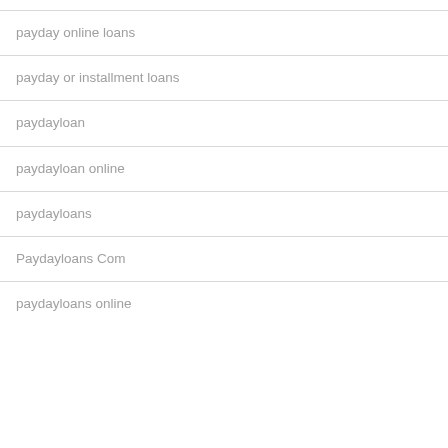payday online loans
payday or installment loans
paydayloan
paydayloan online
paydayloans
Paydayloans Com
paydayloans online